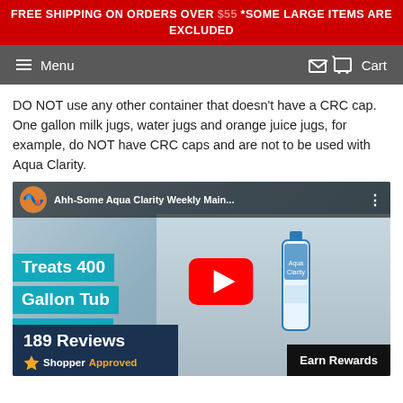FREE SHIPPING ON ORDERS OVER $55 *SOME LARGE ITEMS ARE EXCLUDED
Menu  Cart
DO NOT use any other container that doesn't have a CRC cap. One gallon milk jugs, water jugs and orange juice jugs, for example, do NOT have CRC caps and are not to be used with Aqua Clarity.
[Figure (screenshot): YouTube video thumbnail for 'Ahh-Some Aqua Clarity Weekly Main...' showing a person holding a blue bottle, with text overlay 'Treats 400 Gallon Tub For 1 Year' and a YouTube play button.]
189 Reviews — ShopperApproved
Earn Rewards